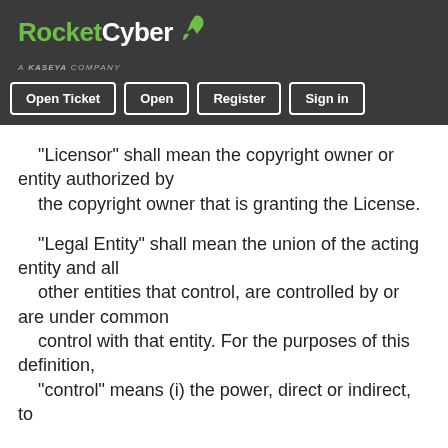RocketCyber — A Kaseya Company | Open Ticket | Open | Register | Sign in
"Licensor" shall mean the copyright owner or entity authorized by the copyright owner that is granting the License.
"Legal Entity" shall mean the union of the acting entity and all other entities that control, are controlled by or are under common control with that entity. For the purposes of this definition, "control" means (i) the power, direct or indirect, to